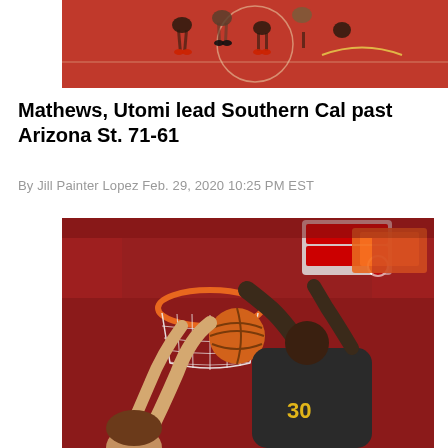[Figure (photo): Basketball game top-down view showing players on a red court]
Mathews, Utomi lead Southern Cal past Arizona St. 71-61
By Jill Painter Lopez Feb. 29, 2020 10:25 PM EST
[Figure (photo): Basketball players jumping for the ball near the hoop, player in dark jersey number 30 visible, red arena background]